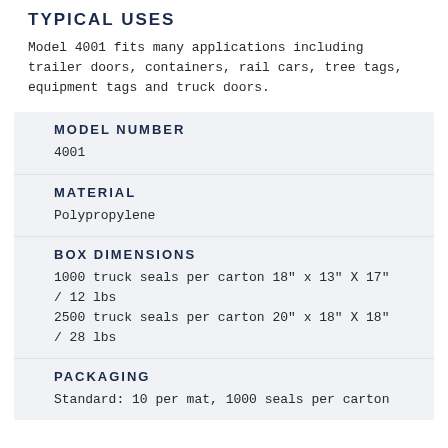TYPICAL USES
Model 4001 fits many applications including trailer doors, containers, rail cars, tree tags, equipment tags and truck doors.
| Field | Value |
| --- | --- |
| MODEL NUMBER | 4001 |
| MATERIAL | Polypropylene |
| BOX DIMENSIONS | 1000 truck seals per carton 18" x 13" X 17" / 12 lbs
2500 truck seals per carton 20" x 18" X 18" / 28 lbs |
| PACKAGING | Standard: 10 per mat, 1000 seals per carton |